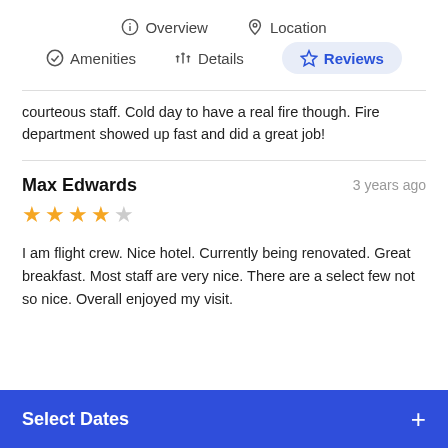Overview | Location | Amenities | Details | Reviews
courteous staff. Cold day to have a real fire though. Fire department showed up fast and did a great job!
Max Edwards — 3 years ago — 4 stars — I am flight crew. Nice hotel. Currently being renovated. Great breakfast. Most staff are very nice. There are a select few not so nice. Overall enjoyed my visit.
Select Dates +